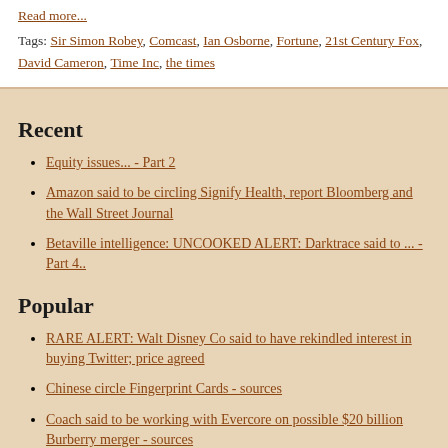Read more...
Tags: Sir Simon Robey, Comcast, Ian Osborne, Fortune, 21st Century Fox, David Cameron, Time Inc, the times
Recent
Equity issues... - Part 2
Amazon said to be circling Signify Health, report Bloomberg and the Wall Street Journal
Betaville intelligence: UNCOOKED ALERT: Darktrace said to ... - Part 4..
Popular
RARE ALERT: Walt Disney Co said to have rekindled interest in buying Twitter; price agreed
Chinese circle Fingerprint Cards - sources
Coach said to be working with Evercore on possible $20 billion Burberry merger - sources